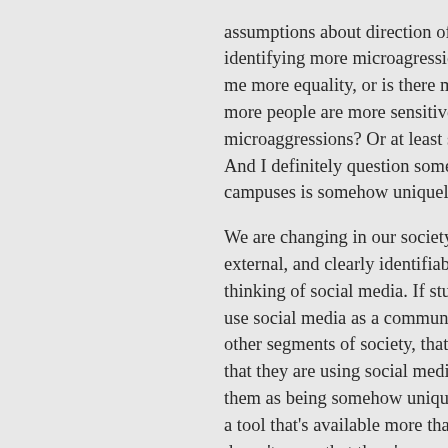assumptions about direction of causality. Is identifying more microagressions telling me more equality, or is there more because more people are more sensitive to microaggressions? Or at least some of that. And I definitely question some notion that campuses is somehow uniquely r...
We are changing in our society in very external, and clearly identifiable ways, thinking of social media. If students tend to use social media as a communication tool, other segments of society, that doesn't mean that they are using social media in ways that mark them as being somehow unique. It's a tool that's available more than ever, doesn't mean that there's some kind of change taking place, just increased use of technology or 40 years hence we will see as n...